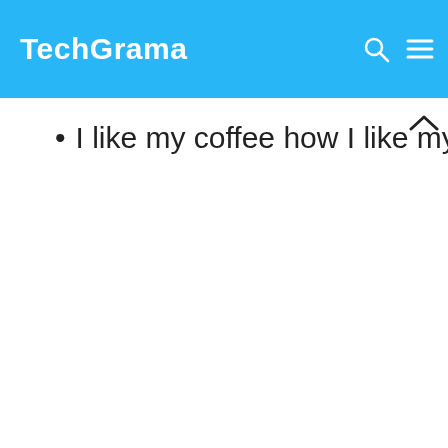TechGrama
I like my coffee how I like myself: Dark